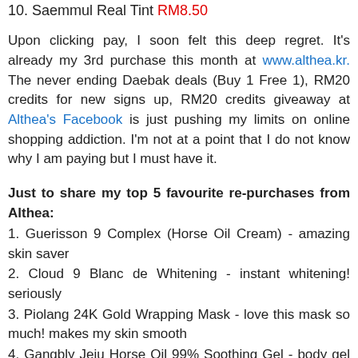10. Saemmul Real Tint RM8.50
Upon clicking pay, I soon felt this deep regret. It's already my 3rd purchase this month at www.althea.kr. The never ending Daebak deals (Buy 1 Free 1), RM20 credits for new signs up, RM20 credits giveaway at Althea's Facebook is just pushing my limits on online shopping addiction. I'm not at a point that I do not know why I am paying but I must have it.
Just to share my top 5 favourite re-purchases from Althea:
1. Guerisson 9 Complex (Horse Oil Cream) - amazing skin saver
2. Cloud 9 Blanc de Whitening - instant whitening! seriously
3. Piolang 24K Gold Wrapping Mask - love this mask so much! makes my skin smooth
4. Gangbly Jeju Horse Oil 99% Soothing Gel - body gel to hydrate, repair & soothe
5. Petitfee Gold & EGF Eye Spot Patch - brightening eye mask (cheap & good!)